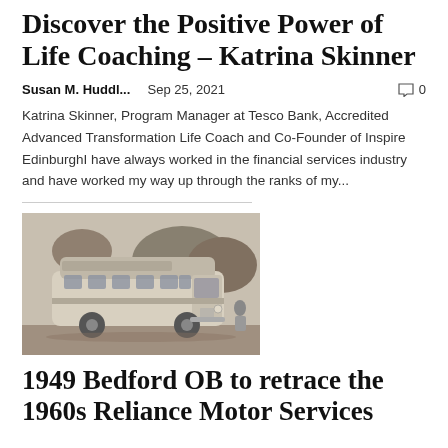Discover the Positive Power of Life Coaching – Katrina Skinner
Susan M. Huddl...   Sep 25, 2021   🗨 0
Katrina Skinner, Program Manager at Tesco Bank, Accredited Advanced Transformation Life Coach and Co-Founder of Inspire EdinburghI have always worked in the financial services industry and have worked my way up through the ranks of my...
[Figure (photo): Black and white photograph of a vintage 1949 Bedford OB coach/bus parked at what appears to be a bus stop or depot, with trees in the background and people nearby.]
1949 Bedford OB to retrace the 1960s Reliance Motor Services